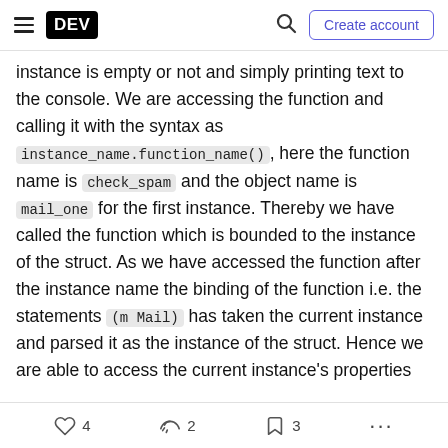DEV — Create account
instance is empty or not and simply printing text to the console. We are accessing the function and calling it with the syntax as instance_name.function_name(), here the function name is check_spam and the object name is mail_one for the first instance. Thereby we have called the function which is bounded to the instance of the struct. As we have accessed the function after the instance name the binding of the function i.e. the statements (m Mail) has taken the current instance and parsed it as the instance of the struct. Hence we are able to access the current instance's properties
4  2  3  ...